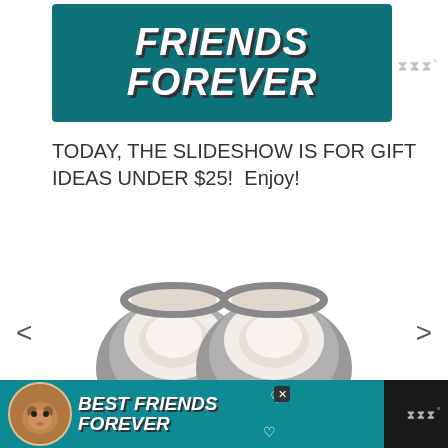[Figure (illustration): Banner image with teal/dark green background showing bold italic white text 'FRIENDS FOREVER' with drop shadow styling]
TODAY, THE SLIDESHOW IS FOR GIFT IDEAS UNDER $25!  Enjoy!
[Figure (photo): Overhead view of a pair of grey fuzzy slippers with white fleece lining, viewed from above on a white background]
[Figure (illustration): Bottom advertisement banner with dark teal background, cat image, and bold italic white text 'BEST FRIENDS FOREVER' with heart decorations and a close button]